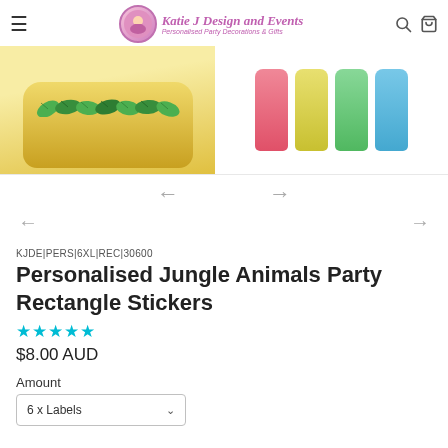Katie J Design and Events - Personalised Party Decorations & Gifts
[Figure (photo): Product images: left shows a yellow divided tray with jungle leaf decorations, right shows four colorful bottles (pink, yellow, green, blue)]
← →
← →
KJDE|PERS|6XL|REC|30600
Personalised Jungle Animals Party Rectangle Stickers
★★★★★
$8.00 AUD
Amount
6 x Labels